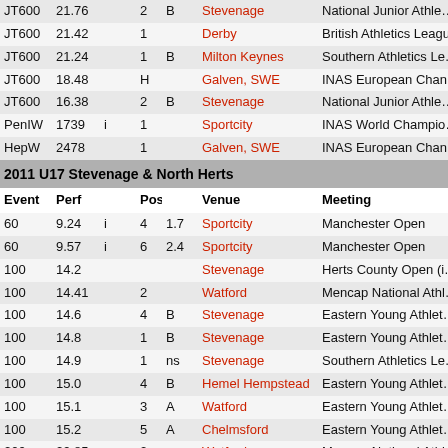| Event | Perf |  |  | Pos |  | Venue | Meeting |
| --- | --- | --- | --- | --- | --- | --- | --- |
| JT600 | 21.76 |  |  | 2 | B | Stevenage | National Junior Athle… |
| JT600 | 21.42 |  |  | 1 |  | Derby | British Athletics Leagu… |
| JT600 | 21.24 |  |  | 1 | B | Milton Keynes | Southern Athletics Le… |
| JT600 | 18.48 |  |  | H |  | Galven, SWE | INAS European Cham… |
| JT600 | 16.38 |  |  | 2 | B | Stevenage | National Junior Athle… |
| PenIW | 1739 | i |  | 1 |  | Sportcity | INAS World Champio… |
| HepW | 2478 |  |  | 1 |  | Galven, SWE | INAS European Chan… |
| 2011 U17 Stevenage & North Herts |  |  |  |  |  |  |  |
| Event | Perf |  |  | Pos |  | Venue | Meeting |
| 60 | 9.24 | i |  | 4 | 1.7 | Sportcity | Manchester Open |
| 60 | 9.57 | i |  | 6 | 2.4 | Sportcity | Manchester Open |
| 100 | 14.2 |  |  |  |  | Stevenage | Herts County Open (i… |
| 100 | 14.41 |  |  | 2 |  | Watford | Mencap National Athl… from organisers |
| 100 | 14.6 |  |  | 4 | B | Stevenage | Eastern Young Athlet… |
| 100 | 14.8 |  |  | 1 | B | Stevenage | Eastern Young Athlet… |
| 100 | 14.9 |  |  | 1 | ns | Stevenage | Southern Athletics Le… |
| 100 | 15.0 |  |  | 4 | B | Hemel Hempstead | Eastern Young Athlet… |
| 100 | 15.1 |  |  | 3 | A | Watford | Eastern Young Athlet… |
| 100 | 15.2 |  |  | 5 | A | Chelmsford | Eastern Young Athlet… |
| 200 | 29.85 |  |  | 2 |  | Watford | Mencap National Athl… from organisers |
| 200 | 29.9 |  |  | 3 | B | Stevenage | Southern Athletics Le… |
| 200 | 30.00 | w | 2.5 | 5 | ns1 | Lee Valley | Alpha Beta Trophy - M… |
| 200 | 30.2 |  |  | 3 | ns | Peterborough | Southern Athletics Le… |
| 200 | 30.2 |  |  | 4 | A | Stevenage | Eastern Young Athlet… |